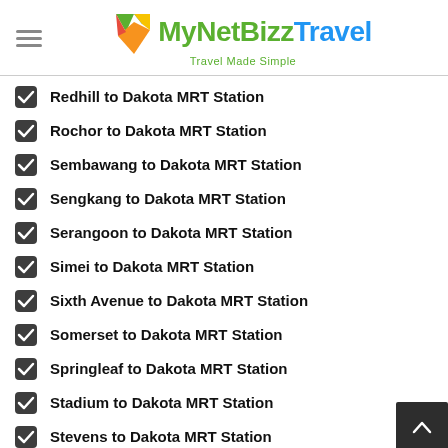[Figure (logo): MyNetBizz Travel logo with colorful diamond icon and tagline 'Travel Made Simple']
Redhill to Dakota MRT Station
Rochor to Dakota MRT Station
Sembawang to Dakota MRT Station
Sengkang to Dakota MRT Station
Serangoon to Dakota MRT Station
Simei to Dakota MRT Station
Sixth Avenue to Dakota MRT Station
Somerset to Dakota MRT Station
Springleaf to Dakota MRT Station
Stadium to Dakota MRT Station
Stevens to Dakota MRT Station